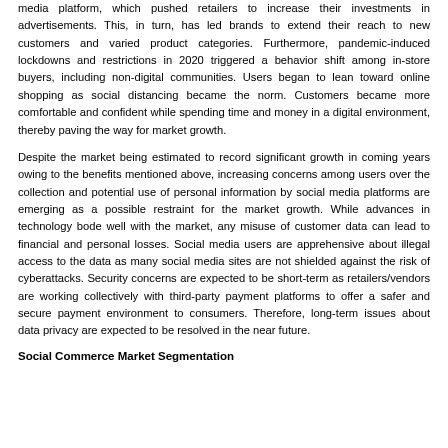media platform, which pushed retailers to increase their investments in advertisements. This, in turn, has led brands to extend their reach to new customers and varied product categories. Furthermore, pandemic-induced lockdowns and restrictions in 2020 triggered a behavior shift among in-store buyers, including non-digital communities. Users began to lean toward online shopping as social distancing became the norm. Customers became more comfortable and confident while spending time and money in a digital environment, thereby paving the way for market growth.
Despite the market being estimated to record significant growth in coming years owing to the benefits mentioned above, increasing concerns among users over the collection and potential use of personal information by social media platforms are emerging as a possible restraint for the market growth. While advances in technology bode well with the market, any misuse of customer data can lead to financial and personal losses. Social media users are apprehensive about illegal access to the data as many social media sites are not shielded against the risk of cyberattacks. Security concerns are expected to be short-term as retailers/vendors are working collectively with third-party payment platforms to offer a safer and secure payment environment to consumers. Therefore, long-term issues about data privacy are expected to be resolved in the near future.
Social Commerce Market Segmentation